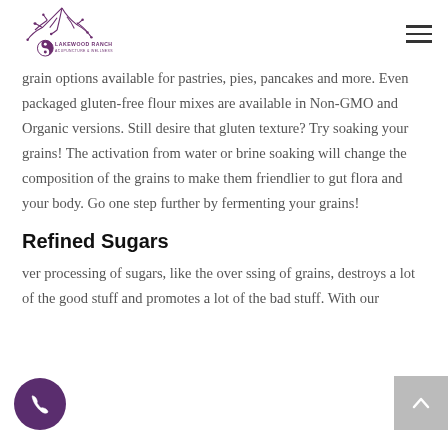Lakewood Ranch Acupuncture & Wellness
grain options available for pastries, pies, pancakes and more. Even packaged gluten-free flour mixes are available in Non-GMO and Organic versions. Still desire that gluten texture? Try soaking your grains! The activation from water or brine soaking will change the composition of the grains to make them friendlier to gut flora and your body. Go one step further by fermenting your grains!
Refined Sugars
ver processing of sugars, like the over ssing of grains, destroys a lot of the good stuff and promotes a lot of the bad stuff. With our